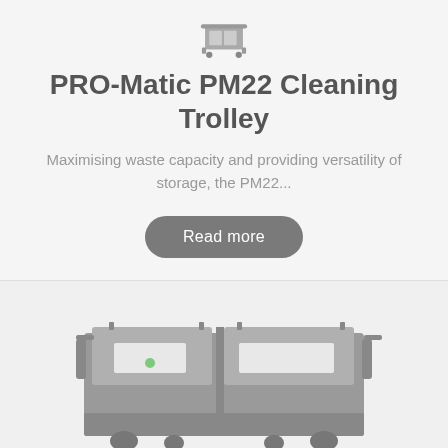[Figure (illustration): Small icon/logo of a cleaning trolley at the top of the card]
PRO-Matic PM22 Cleaning Trolley
Maximising waste capacity and providing versatility of storage, the PM22...
Read more
[Figure (photo): Grayscale/muted 3D rendering of the PRO-Matic PM22 Cleaning Trolley, a large waste collection trolley with multiple compartments and lids, viewed from a front-side angle. The image is partially cropped at the bottom of the page.]